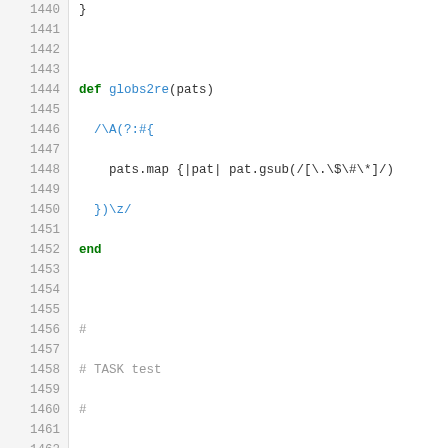[Figure (screenshot): Ruby source code snippet showing lines 1440-1467 with syntax highlighting. Includes a globs2re method, TASK test comments, TESTDIR constant, and exec_test method definition with file checks, require, rescue, and runner logic.]